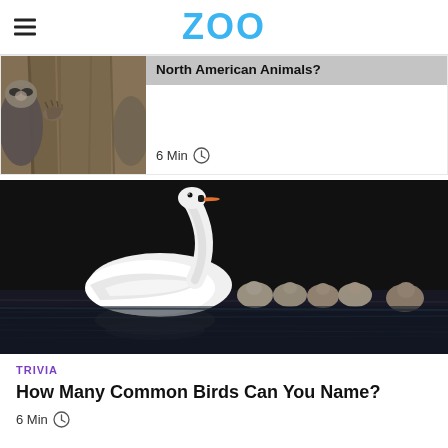ZOO
[Figure (photo): Raccoon clinging to a tree trunk, close-up photo]
North American Animals?
6 Min
[Figure (photo): White swan swimming with several grey cygnets on dark water]
TRIVIA
How Many Common Birds Can You Name?
6 Min